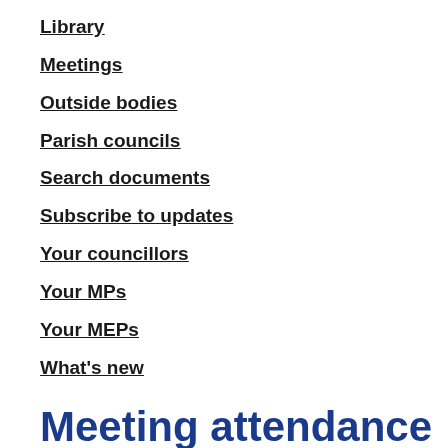Library
Meetings
Outside bodies
Parish councils
Search documents
Subscribe to updates
Your councillors
Your MPs
Your MEPs
What's new
Meeting attendance
Tuesday, 3rd October, 2017 7.00 pm, Grand Western